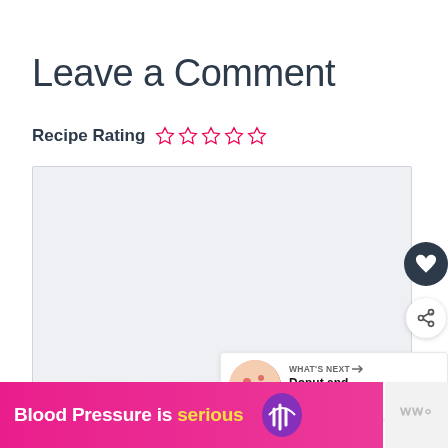Leave a Comment
Recipe Rating ☆☆☆☆☆
[Figure (other): Empty textarea/comment input box with light gray background]
[Figure (other): Circular dark navy heart/favorite button icon on the right side]
[Figure (other): Circular white share button icon on the right side]
[Figure (other): What's Next panel showing a donut and fruit kabobs thumbnail with text 'WHAT'S NEXT → Donut and Fruit Kabobs']
[Figure (other): Pink/magenta advertisement banner reading 'Blood Pressure is serious' with a purple heart icon and a gray logo area]